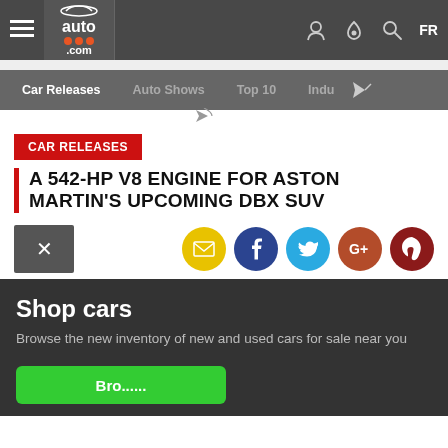auto100.com — FR
Car Releases | Auto Shows | Top 10 | Indu...
CAR RELEASES
A 542-HP V8 ENGINE FOR ASTON MARTIN'S UPCOMING DBX SUV
[Figure (infographic): Social sharing icons: close X button, email (yellow), Facebook (dark blue), Twitter (light blue), Google+ (orange-brown), Pinterest (dark red)]
Shop cars
Browse the new inventory of new and used cars for sale near you